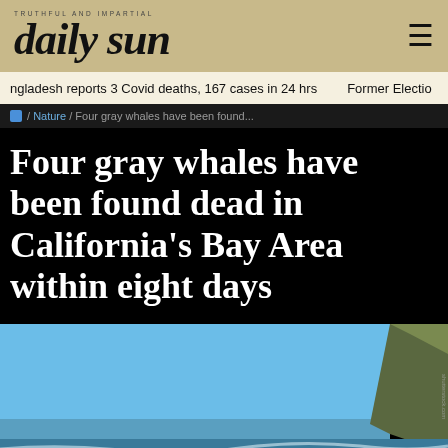daily sun
ngladesh reports 3 Covid deaths, 167 cases in 24 hrs   Former Electio
/ Nature / Four gray whales have been found...
Four gray whales have been found dead in California's Bay Area within eight days
[Figure (photo): A dead gray whale washed ashore on a beach, partially in the water, with clear blue sky and a rocky headland visible in the background.]